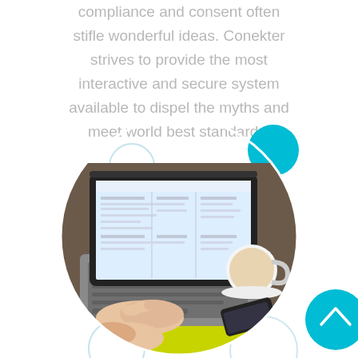compliance and consent often stifle wonderful ideas. Conekter strives to provide the most interactive and secure system available to dispel the myths and meet world best standards.
[Figure (photo): Person typing on a laptop computer at a cafe table with a coffee cup and smartphone nearby. The laptop screen shows a software interface. The image is cropped in a circle with decorative cyan and light blue circles around it.]